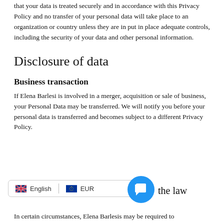that your data is treated securely and in accordance with this Privacy Policy and no transfer of your personal data will take place to an organization or country unless they are in put in place adequate controls, including the security of your data and other personal information.
Disclosure of data
Business transaction
If Elena Barlesi is involved in a merger, acquisition or sale of business, your Personal Data may be transferred. We will notify you before your personal data is transferred and becomes subject to a different Privacy Policy.
the law
In certain circumstances, Elena Barlesis may be required to